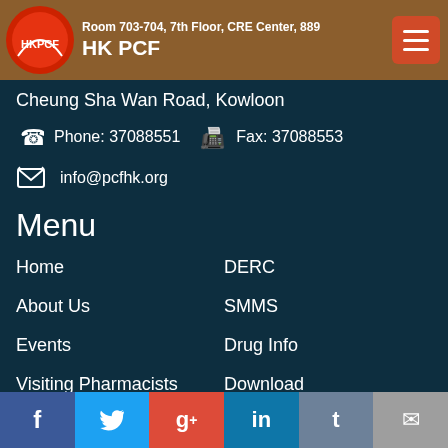Room 703-704, 7th Floor, CRE Center, 889 HK PCF
Cheung Sha Wan Road, Kowloon
Phone: 37088551   Fax: 37088553
info@pcfhk.org
Menu
Home
DERC
About Us
SMMS
Events
Drug Info
Visiting Pharmacists
Download
f  t  g+  in  t  ✉